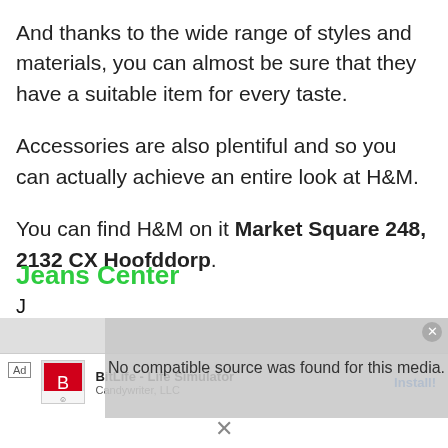And thanks to the wide range of styles and materials, you can almost be sure that they have a suitable item for every taste.
Accessories are also plentiful and so you can actually achieve an entire look at H&M.
You can find H&M on it Market Square 248, 2132 CX Hoofddorp.
Jeans Center
No compatible source was found for this media.
[Figure (screenshot): Ad overlay showing BitLife - Life Simulator app by Candywriter, LLC with Install button]